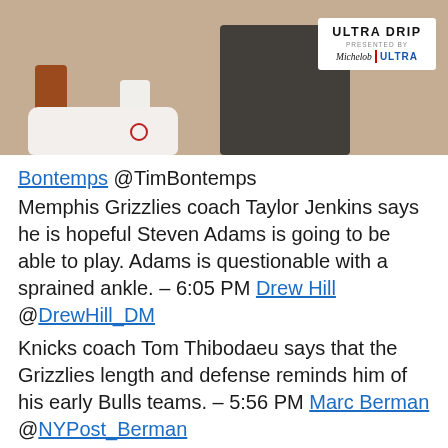[Figure (photo): Top portion of a basketball-related photo showing white sneakers with orange and white socks, on a tan/beige background. An 'ULTRA DRIP presented by Michelob ULTRA' logo box appears in the top right corner.]
Bontemps @TimBontemps Memphis Grizzlies coach Taylor Jenkins says he is hopeful Steven Adams is going to be able to play. Adams is questionable with a sprained ankle. – 6:05 PM Drew Hill @DrewHill_DM
Knicks coach Tom Thibodaeu says that the Grizzlies length and defense reminds him of his early Bulls teams. – 5:56 PM Marc Berman @NYPost_Berman
Last dance tonight for MSG Network sideline reporter Rebecca Haarlow as she heads out